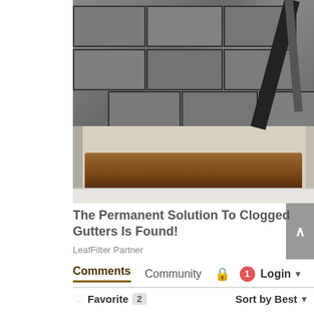[Figure (photo): Close-up photo of a clogged roof gutter filled with dried leaves and debris, with a cleaning tool arm visible, and asphalt shingles above]
The Permanent Solution To Clogged Gutters Is Found!
LeafFilter Partner
Comments   Community   Login
Favorite  2   Sort by Best